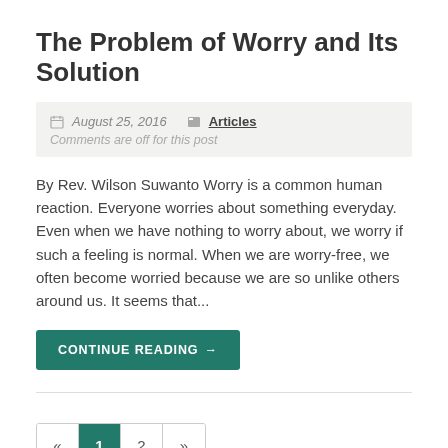The Problem of Worry and Its Solution
August 25, 2016  Articles
Comments are off for this post
By Rev. Wilson Suwanto Worry is a common human reaction. Everyone worries about something everyday. Even when we have nothing to worry about, we worry if such a feeling is normal. When we are worry-free, we often become worried because we are so unlike others around us. It seems that...
CONTINUE READING→
« 1 2 »